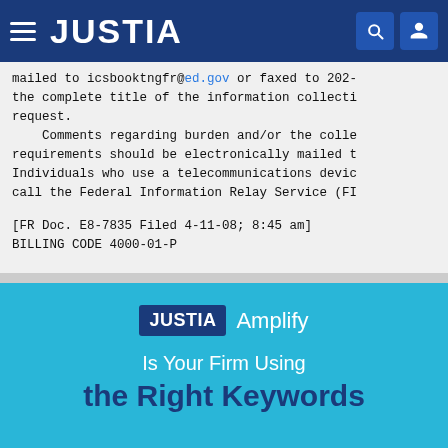JUSTIA
mailed to icsbooktngfr@ed.gov or faxed to 202-the complete title of the information collectirequest.
    Comments regarding burden and/or the collerequirements should be electronically mailed tIndividuals who use a telecommunications deviccall the Federal Information Relay Service (FI
[FR Doc. E8-7835 Filed 4-11-08; 8:45 am]
BILLING CODE 4000-01-P
[Figure (screenshot): JUSTIA Amplify advertisement banner with text 'Is Your Firm Using the Right Keywords']